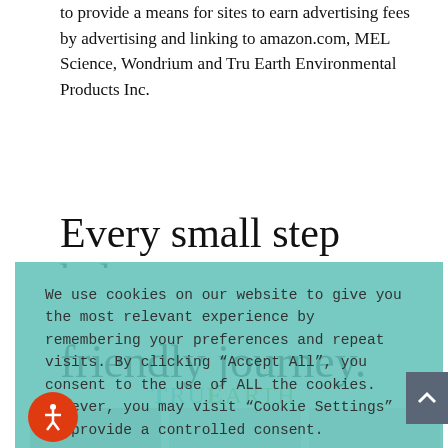to provide a means for sites to earn advertising fees by advertising and linking to amazon.com, MEL Science, Wondrium and Tru Earth Environmental Products Inc.
Every small step helps
We use cookies on our website to give you the most relevant experience by remembering your preferences and repeat visits. By clicking “Accept All”, you consent to the use of ALL the cookies. However, you may visit “Cookie Settings” to provide a controlled consent.
Cookie Settings | Accept All
friendly journey.
[Figure (logo): TruEarth logo in teal and green text]
[Figure (photo): Photos of people with laundry and eco products]